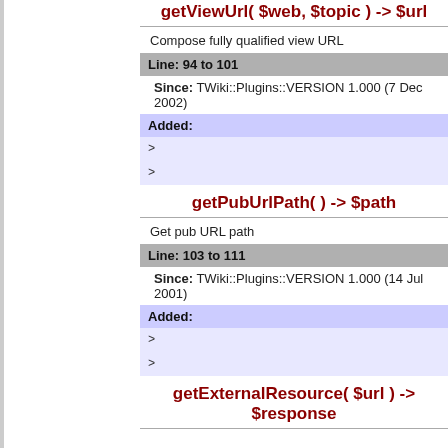getViewUrl( $web, $topic ) -> $url
Compose fully qualified view URL
Line: 94 to 101
Since: TWiki::Plugins::VERSION 1.000 (7 Dec 2002)
Added:
getPubUrlPath( ) -> $path
Get pub URL path
Line: 103 to 111
Since: TWiki::Plugins::VERSION 1.000 (14 Jul 2001)
Added:
getExternalResource( $url ) -> $response